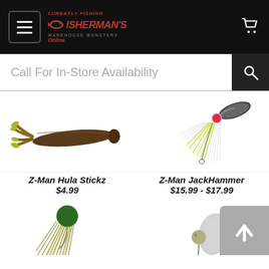[Figure (screenshot): Fisherman's Online website header with hamburger menu icon, red Fisherman's Online logo, and white shopping cart icon on black background]
Call For In-Store Availability
[Figure (photo): Z-Man Hula Stickz fishing lure - brown soft plastic stick bait with forked tail]
Z-Man Hula Stickz
$4.99
[Figure (photo): Z-Man JackHammer fishing lure - chatterbait style with white/chartreuse skirt and metal blade]
Z-Man JackHammer
$15.99 - $17.99
[Figure (photo): Fishing jig lure with green/olive skirt (bottom left, partially visible)]
[Figure (photo): Fishing lure (bottom right, partially visible) with scroll-to-top button overlay]